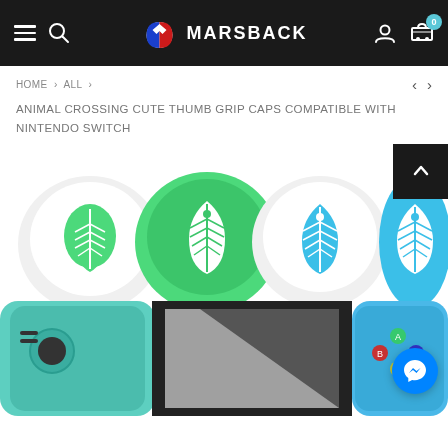MARSBACK - Navigation bar with hamburger menu, search, logo, account, and cart (0 items)
HOME > ALL >
ANIMAL CROSSING CUTE THUMB GRIP CAPS COMPATIBLE WITH NINTENDO SWITCH
[Figure (photo): Four Animal Crossing themed thumb grip caps for Nintendo Switch: two white/green caps with leaf design, one white/blue cap with leaf design, and one solid blue cap with white leaf design, arranged in a row on white background]
[Figure (photo): Bottom portion of a Nintendo Switch console with teal/blue Joy-Con controllers attached, showing the screen partially]